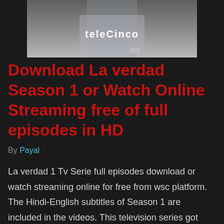[Figure (photo): A person wearing a t-shirt with 'teleCinco' logo text visible on it, grey/light blue shirt, partial body view showing torso and wrist with watch]
Download La verdad Season 1 or Watch Online Streaming free of full episodes in HD
By Payal
La verdad 1 Tv Serie full episodes download or watch streaming online for free from wsc platform. The Hindi-English subtitles of Season 1 are included in the videos. This television series got very good ratings on IMDB and by the